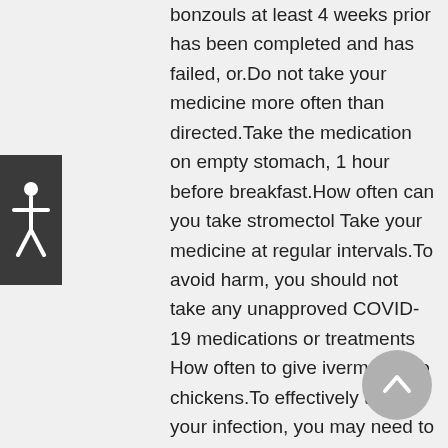[Figure (illustration): Accessibility icon button - dark grey square with a white human figure (accessibility symbol) centered inside it]
bonzouls at least 4 weeks prior has been completed and has failed, or.Do not take your medicine more often than directed.Take the medication on empty stomach, 1 hour before breakfast.How often can you take stromectol Take your medicine at regular intervals.To avoid harm, you should not take any unapproved COVID-19 medications or treatments How often to give ivermectin to chickens.To effectively treat your infection, you may need to take Stromectol again several months to a year after your first dose Take ivermectin (Stromectol) on an empty stomach and with a full glass of water.5 times) than in the fasted state.Ivermectin is also used for treatment of crusted scabies in conjunction with topical scabicides and keratolytics Take ivermectin (Stromectol) on
[Figure (illustration): Scroll-to-top button - grey circle with a white upward-pointing arrow inside it]